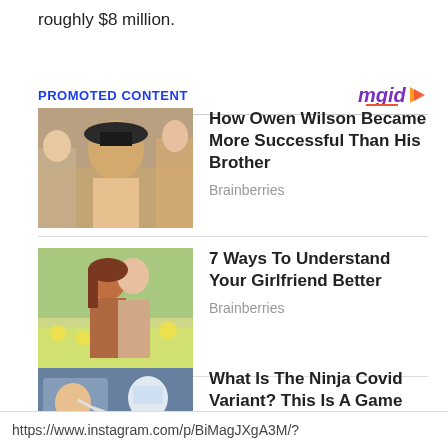roughly $8 million.
PROMOTED CONTENT
[Figure (photo): Owen Wilson actor photo with other people]
How Owen Wilson Became More Successful Than His Brother
Brainberries
[Figure (photo): Couple hugging in a field of flowers]
7 Ways To Understand Your Girlfriend Better
Brainberries
[Figure (photo): COVID testing at a drive-through, medical worker swabbing person in car]
What Is The Ninja Covid Variant? This Is A Game Changer
Brainberries
https://www.instagram.com/p/BiMagJXgA3M/?